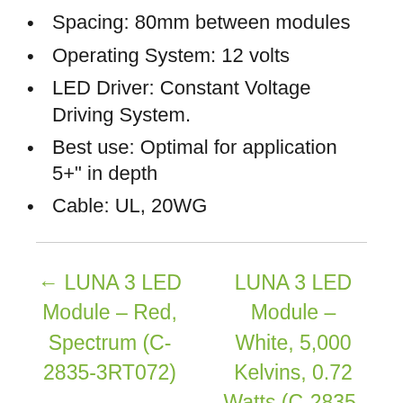Spacing: 80mm between modules
Operating System: 12 volts
LED Driver: Constant Voltage Driving System.
Best use: Optimal for application 5+" in depth
Cable: UL, 20WG
← LUNA 3 LED Module – Red, Spectrum (C-2835-3RT072)
LUNA 3 LED Module – White, 5,000 Kelvins, 0.72 Watts (C-2835-3WC072-5000) →